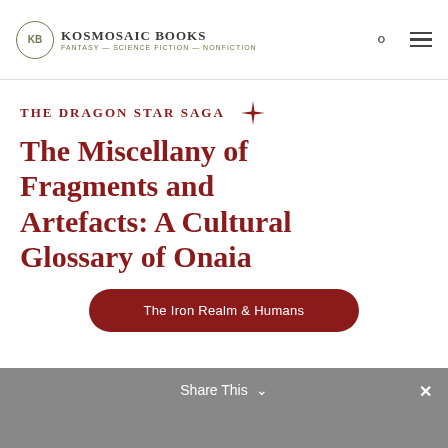KB Kosmosaic Books — Fantasy — Science Fiction — Nonfiction
The Dragon Star Saga
The Miscellany of Fragments and Artefacts: A Cultural Glossary of Onaia
The Iron Realm & Humans
Share This ✓ ×